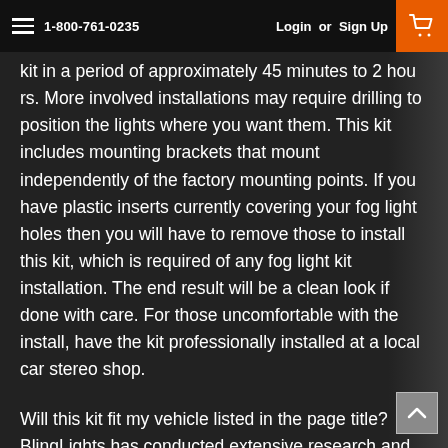1-800-761-0235  Login or Sign Up
kit in a period of approximately 45 minutes to 2 hours. More involved installations may require drilling to position the lights where you want them. This kit includes mounting brackets that mount independently of the factory mounting points. If you have plastic inserts currently covering your fog light holes then you will have to remove those to install this kit, which is required of any fog light kit installation. The end result will be a clean look if done with care. For those uncomfortable with the install, have the kit professionally installed at a local car stereo shop.
Will this kit fit my vehicle listed in the page title? BlingLights has conducted extensive research and have sold hundreds of kits to customers with your same vehicle, with no fitment issues. Lamps are